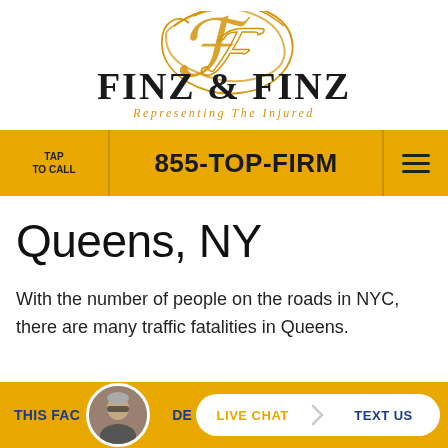[Figure (logo): Finz & Finz law firm logo with decorative gold script monogram above bold serif text 'FINZ & FINZ' and italic subtitle 'Representing The Injured']
TAP TO CALL | 855-TOP-FIRM | menu icon
Queens, NY
With the number of people on the roads in NYC, there are many traffic fatalities in Queens.
THIS FAC... DE... | LIVE CHAT | TEXT US